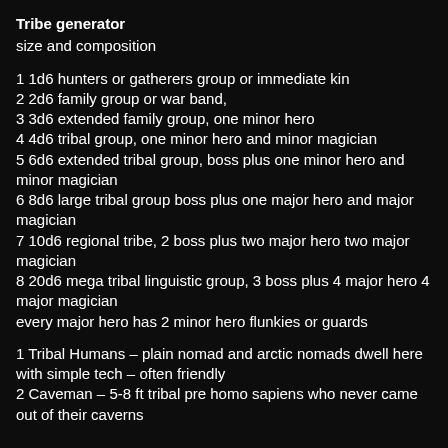Tribe generator
size and composition
1 1d6 hunters or gatherers group or immediate kin
2 2d6 family group or war band,
3 3d6 extended family group, one minor hero
4 4d6 tribal group, one minor hero and minor magician
5 6d6 extended tribal group, boss plus one minor hero and minor magician
6 8d6 large tribal group boss plus one major hero and major magician
7 10d6 regional tribe, 2 boss plus two major hero two major magician
8 20d6 mega tribal linguistic group, 3 boss plus 4 major hero 4 major magician
every major hero has 2 minor hero flunkies or guards
1 Tribal Humans – plain nomad and arctic nomads dwell here with simple tech – often friendly
2 Caveman – 5-8 ft tribal pre homo sapiens who never came out of their caverns